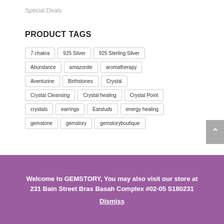Special Deals
PRODUCT TAGS
7 chakra
925 Silver
925 Sterling Silver
Abundance
amazonite
aromatherapy
Aventurine
Birthstones
Crystal
Crystal Cleansing
Crystal healing
Crystal Point
crystals
earrings
Earstuds
energy healing
gemstone
gemstory
gemstoryboutique
Welcome to GEMSTORY, You may also visit our store at 231 Bain Street Bras Basah Complex #02-05 S180231 Dismiss